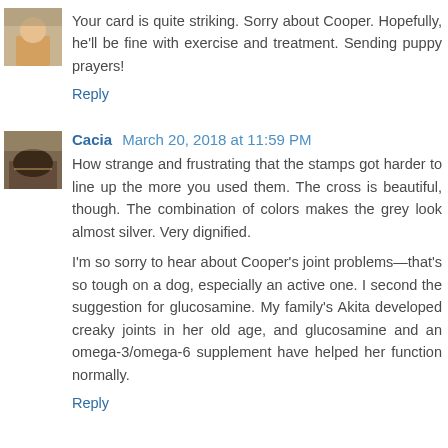Your card is quite striking. Sorry about Cooper. Hopefully, he'll be fine with exercise and treatment. Sending puppy prayers!
Reply
Cacia March 20, 2018 at 11:59 PM
How strange and frustrating that the stamps got harder to line up the more you used them. The cross is beautiful, though. The combination of colors makes the grey look almost silver. Very dignified.
I'm so sorry to hear about Cooper's joint problems—that's so tough on a dog, especially an active one. I second the suggestion for glucosamine. My family's Akita developed creaky joints in her old age, and glucosamine and an omega-3/omega-6 supplement have helped her function normally.
Reply